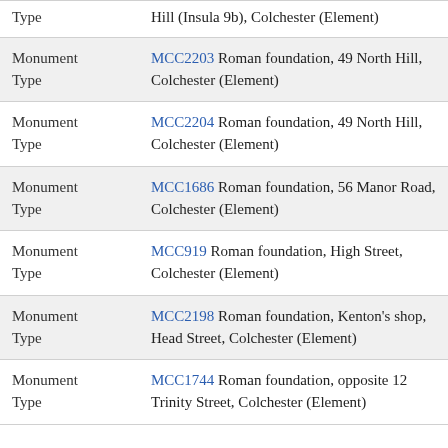| Field | Value |
| --- | --- |
| Type | Hill (Insula 9b), Colchester (Element) |
| Monument Type | MCC2203 Roman foundation, 49 North Hill, Colchester (Element) |
| Monument Type | MCC2204 Roman foundation, 49 North Hill, Colchester (Element) |
| Monument Type | MCC1686 Roman foundation, 56 Manor Road, Colchester (Element) |
| Monument Type | MCC919 Roman foundation, High Street, Colchester (Element) |
| Monument Type | MCC2198 Roman foundation, Kenton's shop, Head Street, Colchester (Element) |
| Monument Type | MCC1744 Roman foundation, opposite 12 Trinity Street, Colchester (Element) |